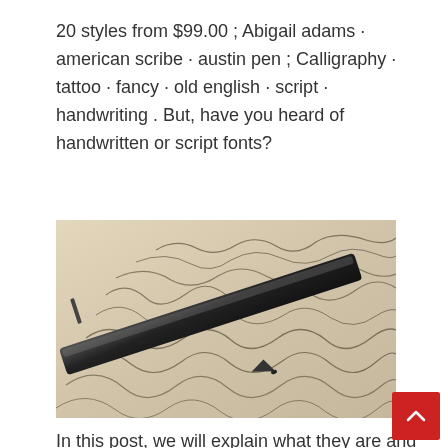20 styles from $99.00 ; Abigail adams · american scribe · austin pen ; Calligraphy · tattoo · fancy · old english · script · handwriting . But, have you heard of handwritten or script fonts?
[Figure (photo): Close-up photo of a calligraphy pen writing cursive script on beige/cream paper with ornate handwriting visible throughout the image.]
In this post, we will explain what they are and